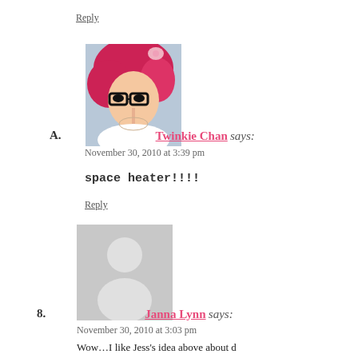Reply
[Figure (photo): Profile photo of Twinkie Chan: woman with red/pink hair and glasses]
A. Twinkie Chan says:
November 30, 2010 at 3:39 pm
space heater!!!!
Reply
[Figure (photo): Default grey avatar placeholder silhouette for Janna Lynn]
8. Janna Lynn says:
November 30, 2010 at 3:03 pm
Wow…I like Jess's idea above about de scans when making tops and skirts!!